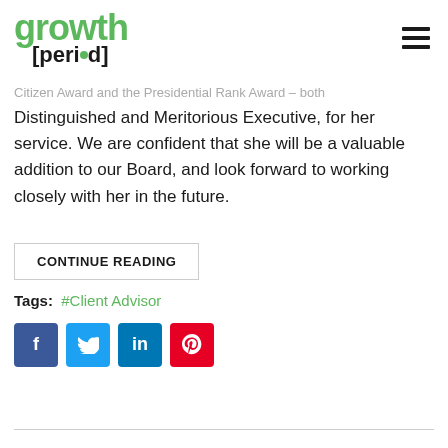growth [period]
Citizen Award and the Presidential Rank Award – both Distinguished and Meritorious Executive, for her service. We are confident that she will be a valuable addition to our Board, and look forward to working closely with her in the future.
CONTINUE READING
Tags: #Client Advisor
[Figure (other): Social media share buttons: Facebook (blue), Twitter (light blue), LinkedIn (dark blue), Pinterest (red)]